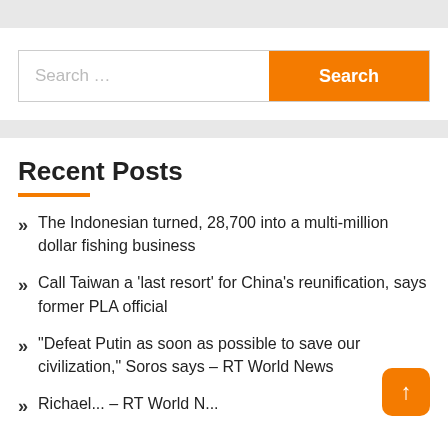Search ...
Recent Posts
The Indonesian turned, 28,700 into a multi-million dollar fishing business
Call Taiwan a ‘last resort’ for China’s reunification, says former PLA official
“Defeat Putin as soon as possible to save our civilization,” Soros says – RT World News
Richard... – RT World N...